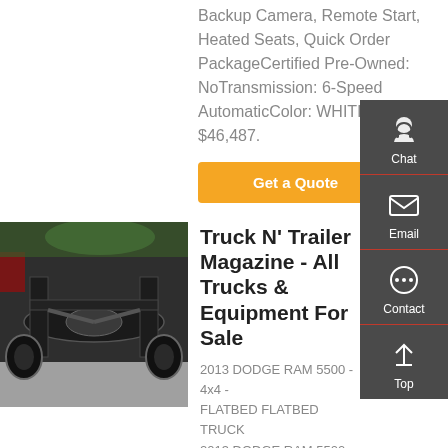Backup Camera, Remote Start, Heated Seats, Quick Order PackageCertified Pre-Owned: NoTransmission: 6-Speed AutomaticColor: WHITE. $46,487.
Get a Quote
[Figure (photo): Undercarriage/chassis view of a large truck, showing axle, differential, and frame components from below]
Truck N' Trailer Magazine - All Trucks & Equipment For Sale
2013 DODGE RAM 5500 - 4x4 - FLATBED FLATBED TRUCK
2013 DODGE RAM 5500 - 6.7...